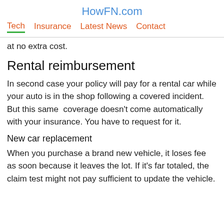HowFN.com
Tech  Insurance  Latest News  Contact
at no extra cost.
Rental reimbursement
In second case your policy will pay for a rental car while your auto is in the shop following a covered incident. But this same  coverage doesn't come automatically with your insurance. You have to request for it.
New car replacement
When you purchase a brand new vehicle, it loses fee as soon because it leaves the lot. If it's far totaled, the claim test might not pay sufficient to update the vehicle.